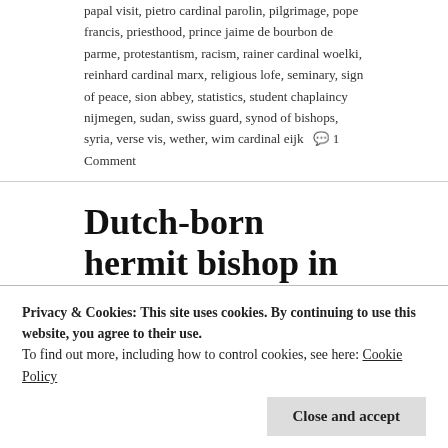papal visit, pietro cardinal parolin, pilgrimage, pope francis, priesthood, prince jaime de bourbon de parme, protestantism, racism, rainer cardinal woelki, reinhard cardinal marx, religious lofe, seminary, sign of peace, sion abbey, statistics, student chaplaincy nijmegen, sudan, swiss guard, synod of bishops, syria, verse vis, wether, wim cardinal eijk  💬 1 Comment
Dutch-born hermit bishop in Brazil dies
[Figure (photo): Outdoor photo showing a person from above wearing a pink/red hat, with green hills in background]
A  life for God
Privacy & Cookies: This site uses cookies. By continuing to use this website, you agree to their use. To find out more, including how to control cookies, see here: Cookie Policy
Close and accept